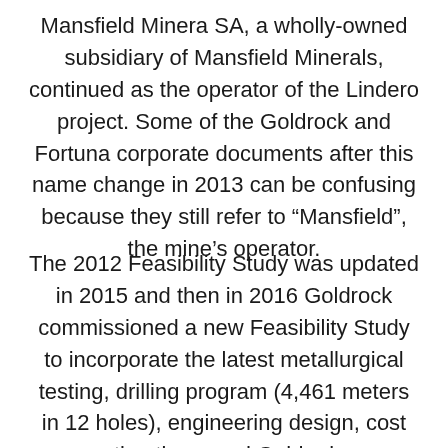Mansfield Minera SA, a wholly-owned subsidiary of Mansfield Minerals, continued as the operator of the Lindero project. Some of the Goldrock and Fortuna corporate documents after this name change in 2013 can be confusing because they still refer to “Mansfield”, the mine’s operator.
The 2012 Feasibility Study was updated in 2015 and then in 2016 Goldrock commissioned a new Feasibility Study to incorporate the latest metallurgical testing, drilling program (4,461 meters in 12 holes), engineering design, cost estimations, and Gold price